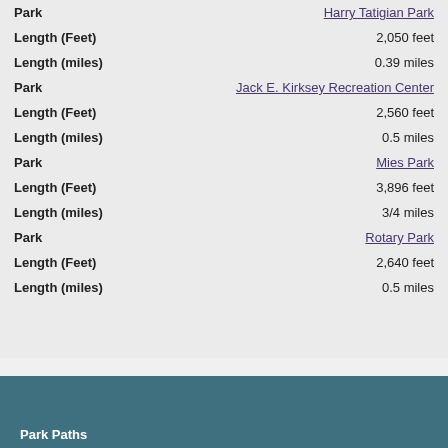| Field | Value |
| --- | --- |
| Park | Harry Tatigian Park |
| Length (Feet) | 2,050 feet |
| Length (miles) | 0.39 miles |
| Park | Jack E. Kirksey Recreation Center |
| Length (Feet) | 2,560 feet |
| Length (miles) | 0.5 miles |
| Park | Mies Park |
| Length (Feet) | 3,896 feet |
| Length (miles) | 3/4 miles |
| Park | Rotary Park |
| Length (Feet) | 2,640 feet |
| Length (miles) | 0.5 miles |
Park Paths